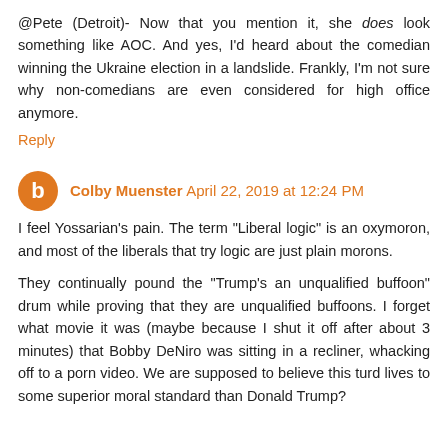@Pete (Detroit)- Now that you mention it, she does look something like AOC. And yes, I'd heard about the comedian winning the Ukraine election in a landslide. Frankly, I'm not sure why non-comedians are even considered for high office anymore.
Reply
Colby Muenster April 22, 2019 at 12:24 PM
I feel Yossarian's pain. The term "Liberal logic" is an oxymoron, and most of the liberals that try logic are just plain morons.
They continually pound the "Trump's an unqualified buffoon" drum while proving that they are unqualified buffoons. I forget what movie it was (maybe because I shut it off after about 3 minutes) that Bobby DeNiro was sitting in a recliner, whacking off to a porn video. We are supposed to believe this turd lives to some superior moral standard than Donald Trump?